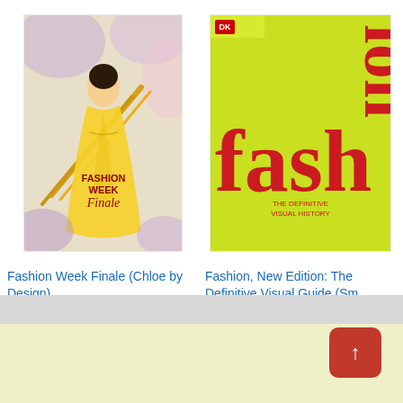[Figure (illustration): Book cover for 'Fashion Week Finale (Chloe by Design)' showing a fashion illustration of a girl in a yellow dress with sketches]
Fashion Week Finale (Chloe by Design)
$4.04
★★★★★ (4)
[Figure (illustration): Book cover for 'Fashion, New Edition: The Definitive Visual Guide' on a lime green background with large red text reading 'fashion']
Fashion, New Edition: The Definitive Visual Guide (Sm…
$29.99  $50.00  ✓prime
★★★★½ (788)
Ads by Amazon ▷